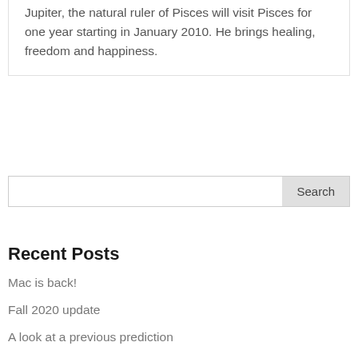Jupiter, the natural ruler of Pisces will visit Pisces for one year starting in January 2010. He brings healing, freedom and happiness.
Search
Recent Posts
Mac is back!
Fall 2020 update
A look at a previous prediction
May 2020 update
Bidding You Adieu